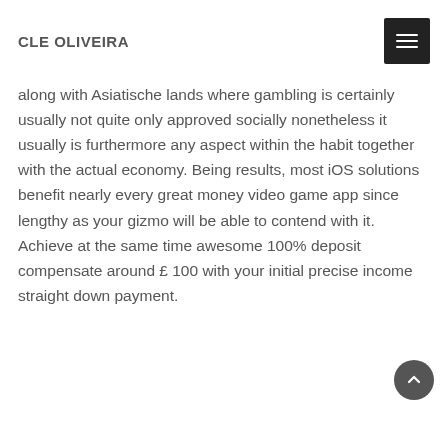CLE OLIVEIRA
along with Asiatische lands where gambling is certainly usually not quite only approved socially nonetheless it usually is furthermore any aspect within the habit together with the actual economy. Being results, most iOS solutions benefit nearly every great money video game app since lengthy as your gizmo will be able to contend with it. Achieve at the same time awesome 100% deposit compensate around £ 100 with your initial precise income straight down payment.